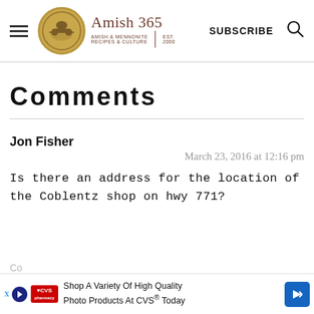Amish 365 — AMISH & MENNONITE RECIPES & CULTURE | EST. 2000 | SUBSCRIBE
Comments
Jon Fisher
March 23, 2016 at 12:16 pm
Is there an address for the location of the Coblentz shop on hwy 771?
[Figure (screenshot): CVS advertisement banner: 'Shop A Variety Of High Quality Photo Products At CVS® Today']